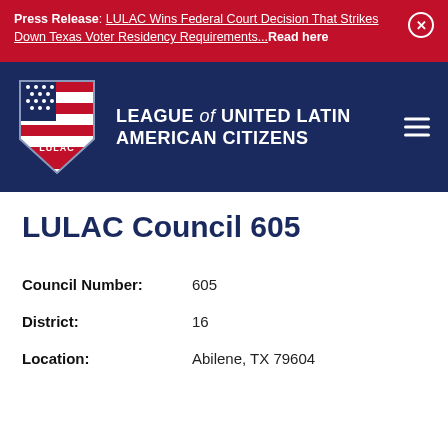Press Release: LULAC Wins Federal Court Decision That Strikes Down Texas Voter Residency Requirements...Read here
[Figure (logo): LULAC shield logo with red and white stripes and stars, with text LEAGUE of UNITED LATIN AMERICAN CITIZENS on navy background]
LULAC Council 605
| Council Number: | 605 |
| District: | 16 |
| Location: | Abilene, TX 79604 |